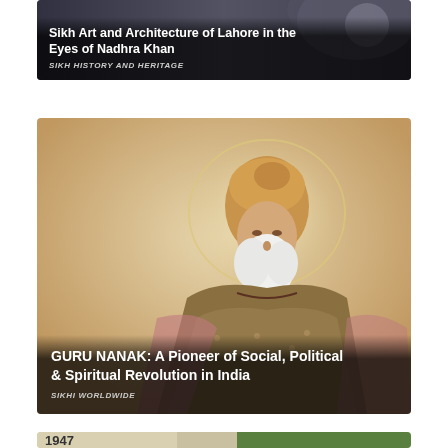[Figure (photo): Dark architectural photograph with Sikh architecture and a portrait, serving as background for article card]
Sikh Art and Architecture of Lahore in the Eyes of Nadhra Khan
SIKH HISTORY AND HERITAGE
[Figure (illustration): Illustrated painting/miniature portrait of Guru Nanak with white beard, turban and halo, warm golden tones]
GURU NANAK: A Pioneer of Social, Political & Spiritual Revolution in India
SIKHI WORLDWIDE
[Figure (photo): Partial photo showing '1947' text and a person in green turban, bottom of page]